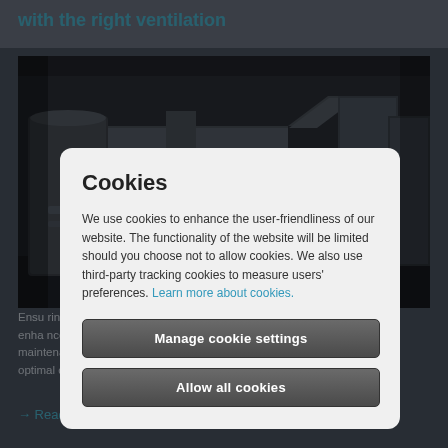with the right ventilation
[Figure (photo): Industrial ventilation ductwork in a dark mechanical room with large metal pipes and ducts]
Cookies
We use cookies to enhance the user-friendliness of our website. The functionality of the website will be limited should you choose not to allow cookies. We also use third-party tracking cookies to measure users' preferences. Learn more about cookies.
Manage cookie settings
Allow all cookies
Ensuring the right compressed air station ventilation enhances performance, efficiency and reduces ongoing maintenance costs. In this blog post we look at 3 top tips for planning optimal compressed air station ventilation.
→ Read the full blog post